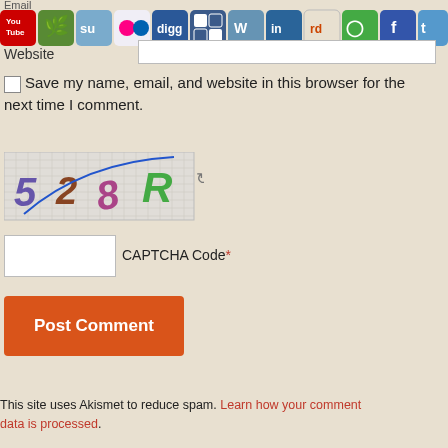[Figure (screenshot): Row of social media sharing icons: YouTube, Stumbleupon, Flickr, Digg, Delicious, Wordpress, LinkedIn, Reddit, Google+, Facebook, Twitter, RSS]
Website
Save my name, email, and website in this browser for the next time I comment.
[Figure (other): CAPTCHA image showing distorted text '528R' with a blue diagonal line on a crosshatch background, with a refresh icon]
CAPTCHA Code*
Post Comment
This site uses Akismet to reduce spam. Learn how your comment data is processed.